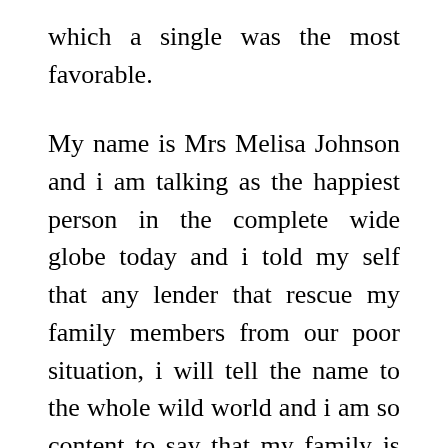which a single was the most favorable.
My name is Mrs Melisa Johnson and i am talking as the happiest person in the complete wide globe today and i told my self that any lender that rescue my family members from our poor situation, i will tell the name to the whole wild world and i am so content to say that my family is back for very good since i was in need to have a loan of $ 85,000 USD to begin my life all more than as i am a single mum with 3kids and the complete planet seemed like it was hanging on me until i met the GOD sent loan lender that changed my life and that of my loved ones, a GOD fearing lender, Mrs Mary Clark, She was the Savior GOD sent to rescue my household and at initial i believed it was not going to be